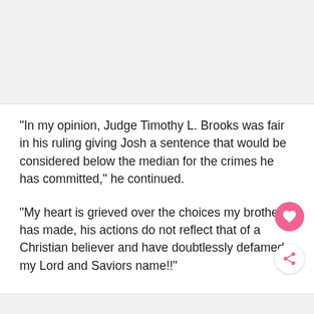[Figure (photo): Gray placeholder image area at the top of the page]
"In my opinion, Judge Timothy L. Brooks was fair in his ruling giving Josh a sentence that would be considered below the median for the crimes he has committed," he continued.
"My heart is grieved over the choices my brother has made, his actions do not reflect that of a Christian believer and have doubtlessly defamed my Lord and Saviors name!!"